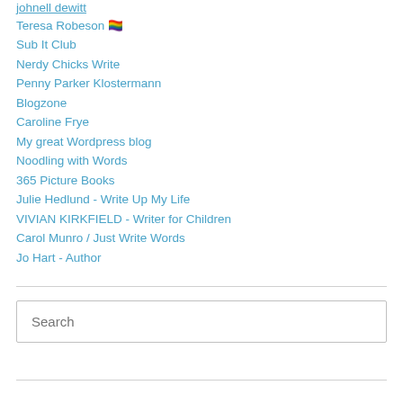johnell dewitt
Teresa Robeson 🏳️‍🌈
Sub It Club
Nerdy Chicks Write
Penny Parker Klostermann
Blogzone
Caroline Frye
My great Wordpress blog
Noodling with Words
365 Picture Books
Julie Hedlund - Write Up My Life
VIVIAN KIRKFIELD - Writer for Children
Carol Munro / Just Write Words
Jo Hart - Author
Search